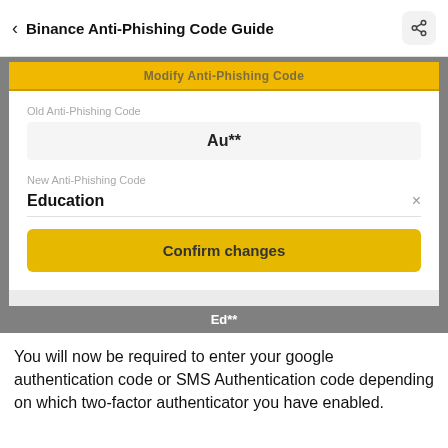Binance Anti-Phishing Code Guide
[Figure (screenshot): Screenshot of a Binance mobile app form showing 'Modify Anti-Phishing Code' with an 'Old Anti-Phishing Code' field displaying 'Au**', a 'New Anti-Phishing Code' field with 'Education' entered and an X clear button, and a yellow 'Confirm changes' button. Below the form is 'Ed**' text.]
You will now be required to enter your google authentication code or SMS Authentication code depending on which two-factor authenticator you have enabled.